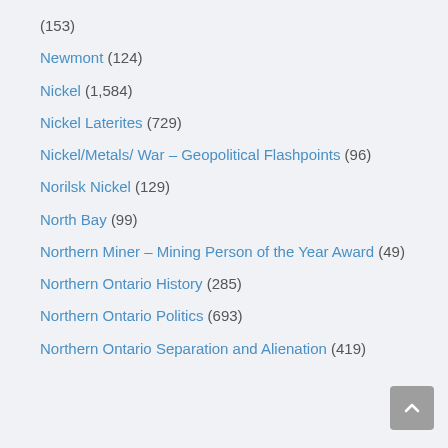(153)
Newmont (124)
Nickel (1,584)
Nickel Laterites (729)
Nickel/Metals/ War – Geopolitical Flashpoints (96)
Norilsk Nickel (129)
North Bay (99)
Northern Miner – Mining Person of the Year Award (49)
Northern Ontario History (285)
Northern Ontario Politics (693)
Northern Ontario Separation and Alienation (419)